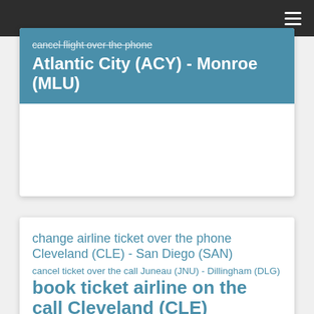cancel flight over the phone Atlantic City (ACY) - Monroe (MLU)
change airline ticket over the phone Cleveland (CLE) - San Diego (SAN)
cancel ticket over the call Juneau (JNU) - Dillingham (DLG)
book ticket airline on the call Cleveland (CLE)